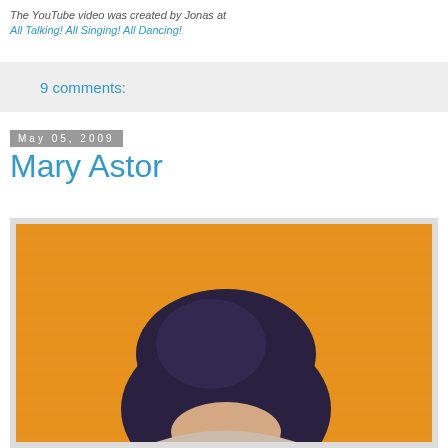The YouTube video was created by Jonas at All Talking! All Singing! All Dancing!
9 comments:
May 05, 2009
Mary Astor
[Figure (illustration): Illustration or painting of Mary Astor shown from the shoulders up, with dark hair against an orange textured canvas background]